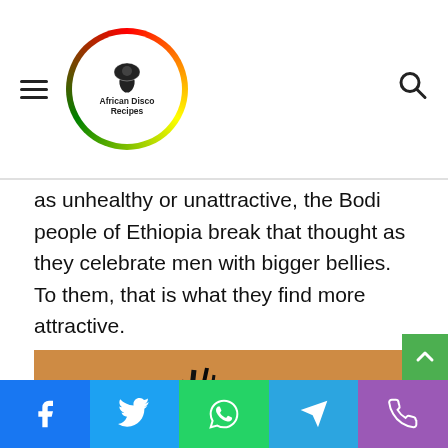African Disco Recipes
as unhealthy or unattractive, the Bodi people of Ethiopia break that thought as they celebrate men with bigger bellies. To them, that is what they find more attractive.
[Figure (photo): A dark-skinned man wearing traditional headgear with feathers and beaded headband, shown in profile against an orange/sandy background, with minimal clothing and body adornments.]
Social share bar: Facebook, Twitter, WhatsApp, Telegram, Phone